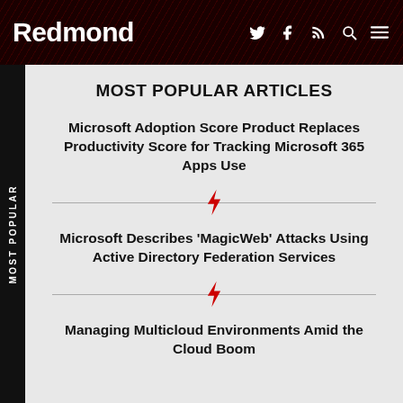Redmond
MOST POPULAR ARTICLES
Microsoft Adoption Score Product Replaces Productivity Score for Tracking Microsoft 365 Apps Use
Microsoft Describes 'MagicWeb' Attacks Using Active Directory Federation Services
Managing Multicloud Environments Amid the Cloud Boom